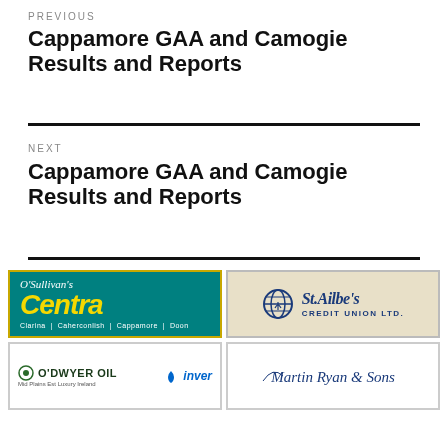PREVIOUS
Cappamore GAA and Camogie Results and Reports
NEXT
Cappamore GAA and Camogie Results and Reports
[Figure (logo): O'Sullivan's Centra logo — teal background with yellow italic Centra text and white script O'Sullivan's above; locations: Clarina | Caherconlish | Cappamore | Doon]
[Figure (logo): St. Ailbe's Credit Union Ltd. logo — beige background with navy globe icon and serif italic St.Ailbe's text]
[Figure (logo): O'Dwyer Oil and Inver logos side by side on white background]
[Figure (logo): Martin Ryan & Sons logo — white background with navy italic script text]